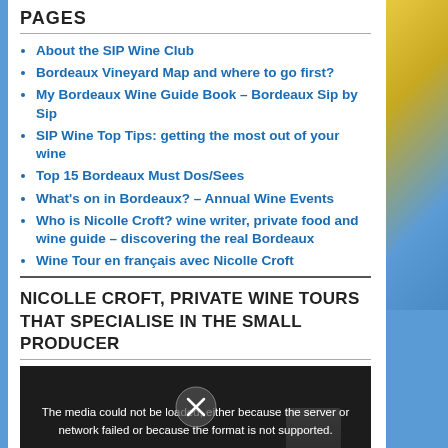PAGES
About the SIP Wine Club
Bordeaux Vineyard Map and where to go first?
My Bordeaux Wine Guide Book – Bordeaux Sip by Sip
SIP Wine Top Tips: getting the most out of your wine
Top 15 Bordeaux Must Dos/Sees
What's on in Bordeaux? – Annual Wine Events
Who is Nicolle Croft? wine writer, private food and wine guide – discovering the real Bordeaux
Wine Tour en français avec Nicolle Croft
NICOLLE CROFT, PRIVATE WINE TOURS THAT SPECIALISE IN THE SMALL PRODUCER
[Figure (screenshot): Video player showing error message: The media could not be loaded, either because the server or network failed or because the format is not supported. An X icon is shown at the bottom center.]